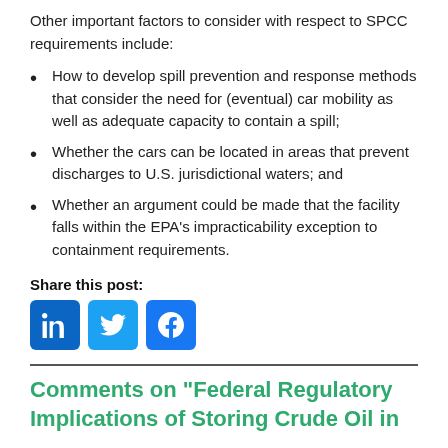Other important factors to consider with respect to SPCC requirements include:
How to develop spill prevention and response methods that consider the need for (eventual) car mobility as well as adequate capacity to contain a spill;
Whether the cars can be located in areas that prevent discharges to U.S. jurisdictional waters; and
Whether an argument could be made that the facility falls within the EPA's impracticability exception to containment requirements.
Share this post:
[Figure (other): Social media share buttons for LinkedIn, Twitter, and Facebook]
Comments on "Federal Regulatory Implications of Storing Crude Oil in